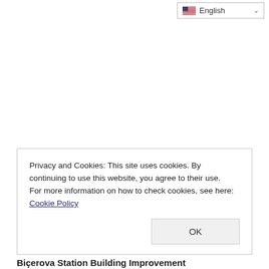[Figure (screenshot): Language selector dropdown showing English with US flag and chevron, positioned in top right corner]
Privacy and Cookies: This site uses cookies. By continuing to use this website, you agree to their use.
For more information on how to check cookies, see here: Cookie Policy
OK
Biçerova Station Building Improvement